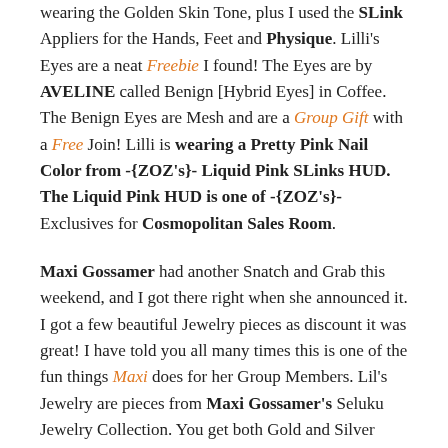wearing the Golden Skin Tone, plus I used the SLink Appliers for the Hands, Feet and Physique.  Lilli's Eyes are a neat Freebie I found!  The Eyes are by AVELINE called Benign [Hybrid Eyes] in Coffee.  The Benign Eyes are Mesh and are a Group Gift with a Free Join!  Lilli is wearing a Pretty Pink Nail Color from -{ZOZ's}- Liquid Pink SLinks HUD.  The Liquid Pink HUD is one of -{ZOZ's}- Exclusives for Cosmopolitan Sales Room.
Maxi Gossamer had another Snatch and Grab this weekend, and I got there right when she announced it.  I got a few beautiful Jewelry pieces as discount it was great!  I have told you all many times this is one of the fun things Maxi does for her Group Members.  Lil's Jewelry are pieces from Maxi Gossamer's Seluku Jewelry Collection. You get both Gold and Silver Metals. The Necklace comes with a few lengths and the Earrings